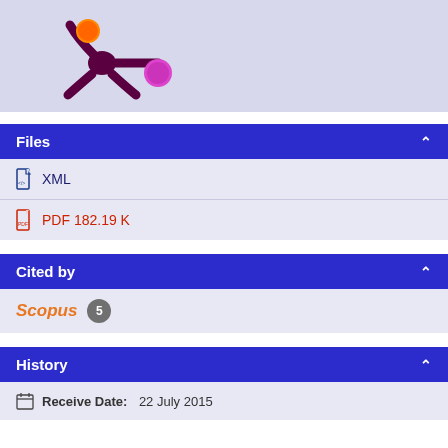[Figure (logo): Purple splat/asterisk logo with orange and magenta/pink dots on a light blue-purple background]
Files
XML
PDF 182.19 K
Cited by
Scopus 5
History
Receive Date: 22 July 2015